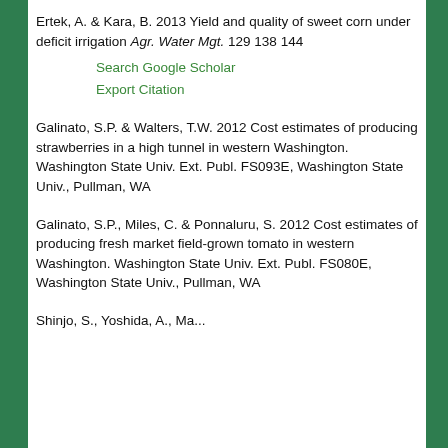Ertek, A. & Kara, B. 2013 Yield and quality of sweet corn under deficit irrigation Agr. Water Mgt. 129 138 144
Search Google Scholar | Export Citation
Galinato, S.P. & Walters, T.W. 2012 Cost estimates of producing strawberries in a high tunnel in western Washington. Washington State Univ. Ext. Publ. FS093E, Washington State Univ., Pullman, WA
Galinato, S.P., Miles, C. & Ponnaluru, S. 2012 Cost estimates of producing fresh market field-grown tomato in western Washington. Washington State Univ. Ext. Publ. FS080E, Washington State Univ., Pullman, WA
Shinjo, S., Yoshida, A., Ma...